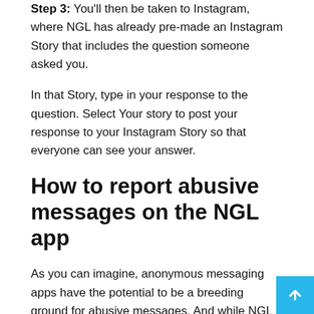Step 3: You'll then be taken to Instagram, where NGL has already pre-made an Instagram Story that includes the question someone asked you.
In that Story, type in your response to the question. Select Your story to post your response to your Instagram Story so that everyone can see your answer.
How to report abusive messages on the NGL app
As you can imagine, anonymous messaging apps have the potential to be a breeding ground for abusive messages. And while NGL says they use AI content moderation to filter out such messages, you may still find yourself in a situation in which someone bullies you via your own NGL anonymous messaging link. If this happens, it's important to know ho…